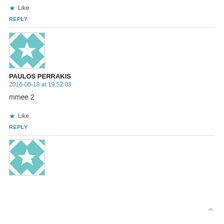★ Like
REPLY
[Figure (illustration): Tiled geometric quilt-pattern avatar in teal and white]
PAULOS PERRAKIS
2016-06-18 at 19:52:03
mmee 2
★ Like
REPLY
[Figure (illustration): Tiled geometric quilt-pattern avatar in teal and white]